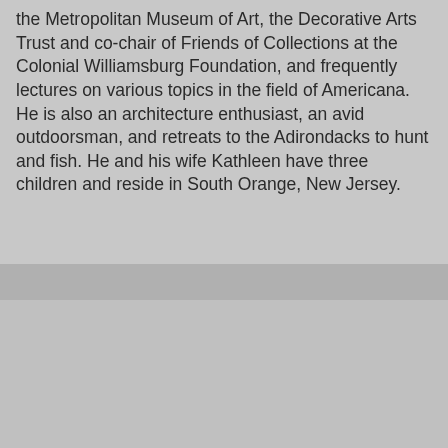the Metropolitan Museum of Art, the Decorative Arts Trust and co-chair of Friends of Collections at the Colonial Williamsburg Foundation, and frequently lectures on various topics in the field of Americana. He is also an architecture enthusiast, an avid outdoorsman, and retreats to the Adirondacks to hunt and fish. He and his wife Kathleen have three children and reside in South Orange, New Jersey.
[Figure (photo): A small portrait photo of a man in a suit with a yellow border, and below it a video frame showing a close-up of a person, with a dark expand button in the top right and a teal SUBSCRIBE button in the bottom right.]